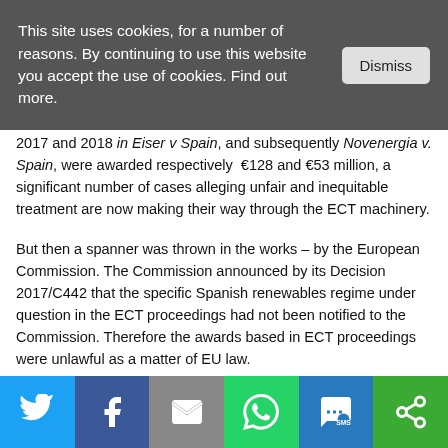This site uses cookies, for a number of reasons. By continuing to use this website you accept the use of cookies. Find out more.
2017 and 2018 in Eiser v Spain, and subsequently Novenergia v. Spain, were awarded respectively €128 and €53 million, a significant number of cases alleging unfair and inequitable treatment are now making their way through the ECT machinery.
But then a spanner was thrown in the works – by the European Commission. The Commission announced by its Decision 2017/C442 that the specific Spanish renewables regime under question in the ECT proceedings had not been notified to the Commission. Therefore the awards based in ECT proceedings were unlawful as a matter of EU law.
The Commission in its decision, however, then went much
[Figure (infographic): Social sharing bar with icons for Twitter, Facebook, Email, WhatsApp, SMS, and More (share) buttons in blue, dark blue, grey, green, blue, and green respectively.]